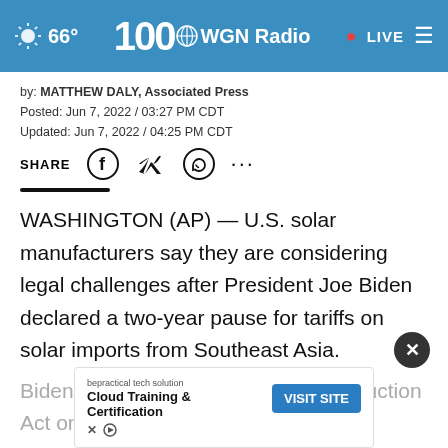66° | 100 WGN Radio | LIVE
by: MATTHEW DALY, Associated Press
Posted: Jun 7, 2022 / 03:27 PM CDT
Updated: Jun 7, 2022 / 04:25 PM CDT
SHARE [Facebook] [Twitter] [WhatsApp] ...
WASHINGTON (AP) — U.S. solar manufacturers say they are considering legal challenges after President Joe Biden declared a two-year pause for tariffs on solar imports from Southeast Asia.
Biden also invoked the Defense Production Act on Monday ... solar
[Figure (screenshot): Ad banner: bepractical tech solution - Cloud Training & Certification - VISIT SITE button]